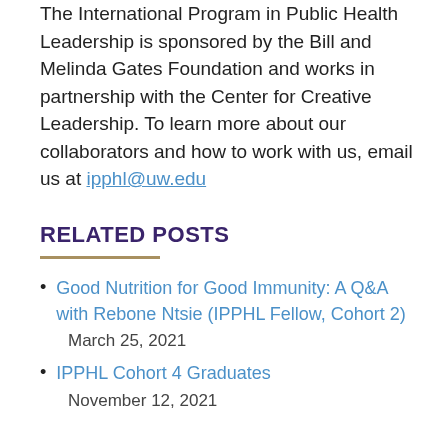The International Program in Public Health Leadership is sponsored by the Bill and Melinda Gates Foundation and works in partnership with the Center for Creative Leadership. To learn more about our collaborators and how to work with us, email us at ipphl@uw.edu
RELATED POSTS
Good Nutrition for Good Immunity: A Q&A with Rebone Ntsie (IPPHL Fellow, Cohort 2)
March 25, 2021
IPPHL Cohort 4 Graduates
November 12, 2021